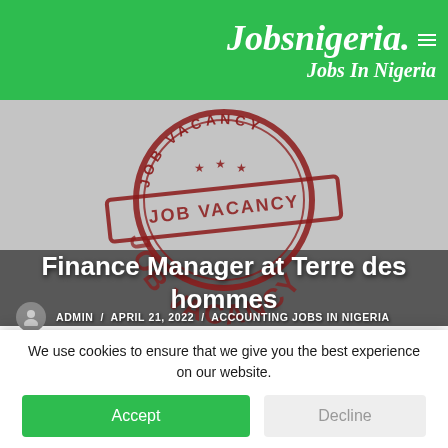Jobsnigeria. / Jobs In Nigeria
[Figure (photo): Job Vacancy stamp graphic in dark red/maroon on grey background, showing circular stamp with 'JOB VACANCY' text and stars, with a rectangular banner also reading 'JOB VACANCY']
Finance Manager at Terre des hommes
ADMIN / APRIL 21, 2022 / ACCOUNTING JOBS IN NIGERIA
We use cookies to ensure that we give you the best experience on our website.
Accept
Decline